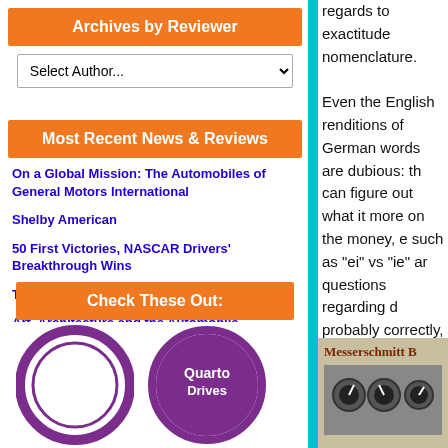Archives by Reviewer
Select Author...
Most Recent News & Reviews
On a Global Mission: The Automobiles of General Motors International
Shelby American
50 First Victories, NASCAR Drivers' Breakthrough Wins
The Vault of Horror
Art, Architecture and the Automobile, Presented by Gilmore Car Museum
Check These Out:
[Figure (other): Two circular badge/logo graphics - a purple circular badge and a purple Quarto Drives badge]
regards to exactitude nomenclature. Even the English renditions of German words are dubious: th can figure out what it more on the money, e such as "ei" vs "ie" ar questions regarding d probably correctly, a ' because unlike, say, layout. The reason th depends on drawings
[Figure (photo): Messerschmitt B - partial book cover showing aircraft instrument panel]